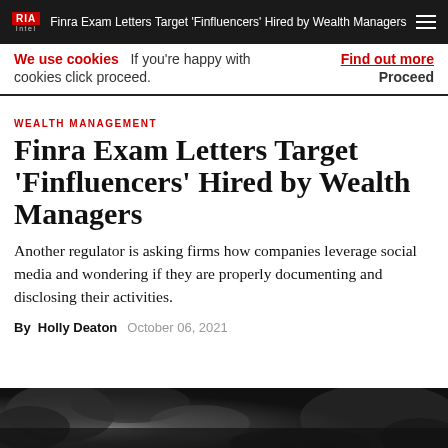Finra Exam Letters Target 'Finfluencers' Hired by Wealth Managers
We use cookies   If you're happy with cookies click proceed.   Find out more   Proceed
WEALTH MANAGEMENT
Finra Exam Letters Target 'Finfluencers' Hired by Wealth Managers
Another regulator is asking firms how companies leverage social media and wondering if they are properly documenting and disclosing their activities.
By Holly Deaton   October 06, 2021
[Figure (photo): Dark grayscale photo strip at bottom of page, showing outdoor scene with trees/foliage]